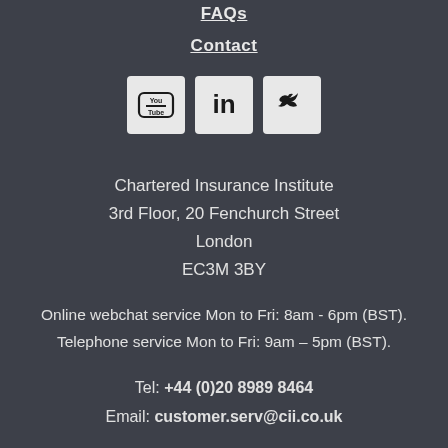FAQs
Contact
[Figure (logo): YouTube, LinkedIn, and Twitter social media icons]
Chartered Insurance Institute
3rd Floor, 20 Fenchurch Street
London
EC3M 3BY
Online webchat service Mon to Fri: 8am - 6pm (BST).
Telephone service Mon to Fri: 9am – 5pm (BST).
Tel: +44 (0)20 8989 8464
Email: customer.serv@cii.co.uk